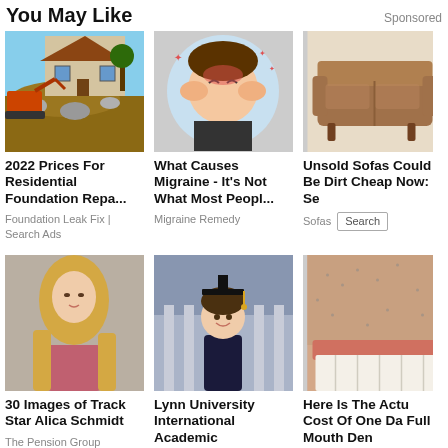You May Like
Sponsored
[Figure (photo): House with excavator doing foundation work]
2022 Prices For Residential Foundation Repa...
Foundation Leak Fix | Search Ads
[Figure (illustration): Cartoon person with migraine headache]
What Causes Migraine - It's Not What Most Peopl...
Migraine Remedy
[Figure (photo): Brown leather sofa]
Unsold Sofas Could Be Dirt Cheap Now: Se
Sofas  Search
[Figure (photo): Blonde woman outdoors]
30 Images of Track Star Alica Schmidt
The Pension Group
[Figure (photo): Graduate in cap and gown smiling]
Lynn University International Academic
[Figure (photo): Close up of teeth and mouth]
Here Is The Actu Cost Of One Da Full Mouth Den